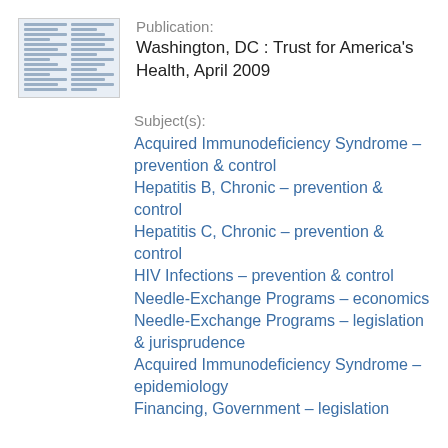[Figure (other): Thumbnail image of a publication document cover]
Publication:
Washington, DC : Trust for America's Health, April 2009
Subject(s):
Acquired Immunodeficiency Syndrome – prevention & control
Hepatitis B, Chronic – prevention & control
Hepatitis C, Chronic – prevention & control
HIV Infections – prevention & control
Needle-Exchange Programs – economics
Needle-Exchange Programs – legislation & jurisprudence
Acquired Immunodeficiency Syndrome – epidemiology
Financing, Government – legislation